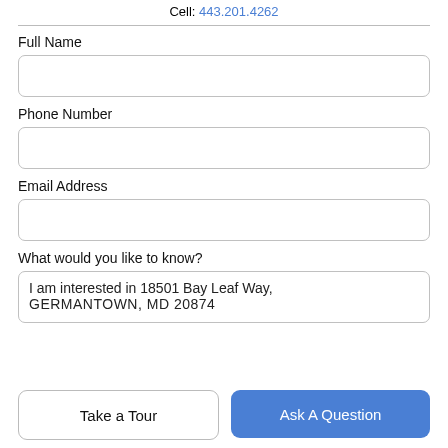Cell: 443.201.4262
Full Name
Phone Number
Email Address
What would you like to know?
I am interested in 18501 Bay Leaf Way, GERMANTOWN, MD 20874